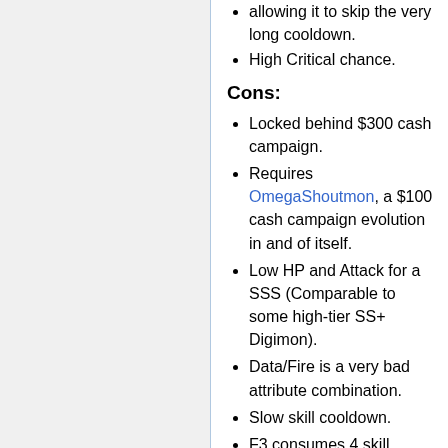allowing it to skip the very long cooldown.
High Critical chance.
Cons:
Locked behind $300 cash campaign.
Requires OmegaShoutmon, a $100 cash campaign evolution in and of itself.
Low HP and Attack for a SSS (Comparable to some high-tier SS+ Digimon).
Data/Fire is a very bad attribute combination.
Slow skill cooldown.
F3 consumes 4 skill points (only able to